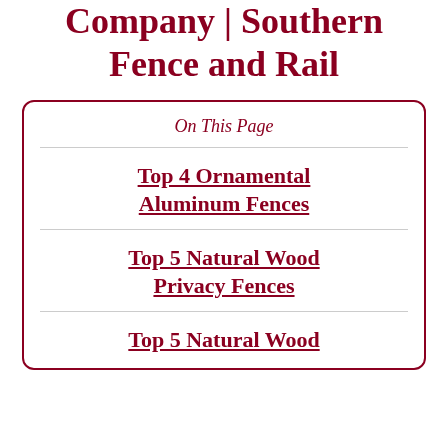Company | Southern Fence and Rail
On This Page
Top 4 Ornamental Aluminum Fences
Top 5 Natural Wood Privacy Fences
Top 5 Natural Wood